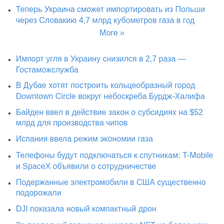Теперь Украина сможет импортировать из Польши через Словакию 4,7 млрд кубометров газа в год
More »
Импорт угля в Украину снизился в 2,7 раза — Гостаможслужба
В Дубае хотят построить кольцеобразный город Downtown Circle вокруг небоскреба Бурдж-Халифа
Байден ввел в действие закон о субсидиях на $52 млрд для производства чипов
Испания ввела режим экономии газа
Телефоны будут подключаться к спутникам: T-Mobile и SpaceX объявили о сотрудничестве
Подержанные электромобили в США существенно подорожали
DJI показала новый компактный дрон
За последний год хакеры украли NFT на более чем